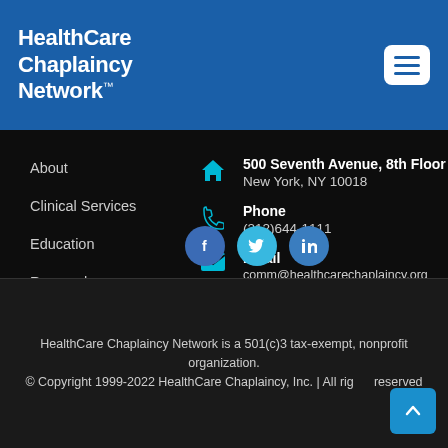[Figure (logo): HealthCare Chaplaincy Network logo in white text on blue header with hamburger menu button]
About
Clinical Services
Education
Research
Support Us
500 Seventh Avenue, 8th Floor
New York, NY 10018
Phone
(212)644-1111
Email
comm@healthcarechaplaincy.org
[Figure (illustration): Social media icons: Facebook, Twitter, LinkedIn]
HealthCare Chaplaincy Network is a 501(c)3 tax-exempt, nonprofit organization.
© Copyright 1999-2022 HealthCare Chaplaincy, Inc. | All rights reserved